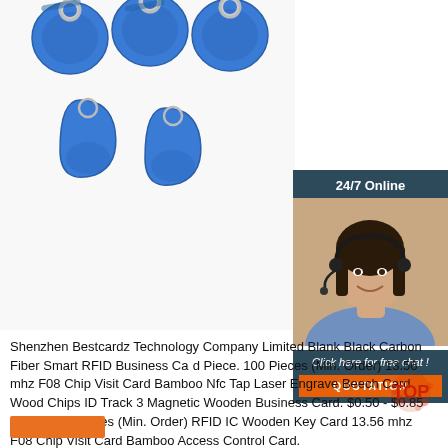[Figure (photo): Five blue RFID key fob tags with metal rings on white background]
[Figure (photo): 24/7 Online chat panel with female customer service agent wearing headset, and QUOTATION button]
Shenzhen Bestcardz Technology Company Limited Blank Black Carbon Fiber Smart RFID Business Card Piece. 100 Pieces (Min. Order) 13.56 mhz F08 Chip Visit Card Bamboo Nfc Tap Laser Engrave Beech Card Wood Chips ID Track 3 Magnetic Wooden Business Card. $0.50 - $0.85 Piece. 100 Pieces (Min. Order) RFID IC Wooden Key Card 13.56 mhz F08 Chip Visit Card Bamboo Access Control Card.
[Figure (logo): TOP badge with red splash effect]
[Figure (other): Orange button at bottom left]